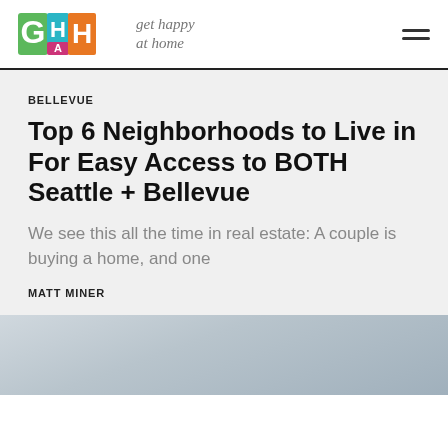[Figure (logo): Get Happy At Home logo with colorful block letters GHAH and handwritten-style tagline 'get happy at home']
BELLEVUE
Top 6 Neighborhoods to Live in For Easy Access to BOTH Seattle + Bellevue
We see this all the time in real estate: A couple is buying a home, and one
MATT MINER
[Figure (photo): Interior room photo showing windows and wall art, partially visible at bottom of page]